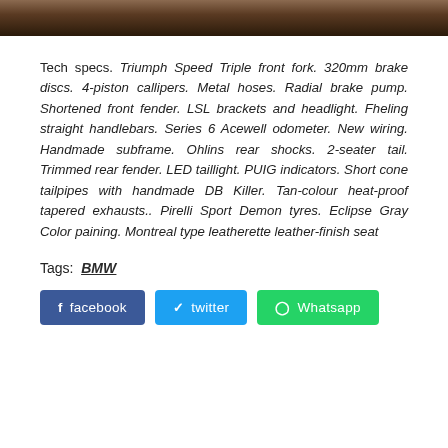[Figure (photo): Top portion of a motorcycle photo, partially cropped, showing dark brown and copper tones]
Tech specs. Triumph Speed Triple front fork. 320mm brake discs. 4-piston callipers. Metal hoses. Radial brake pump. Shortened front fender. LSL brackets and headlight. Fheling straight handlebars. Series 6 Acewell odometer. New wiring. Handmade subframe. Ohlins rear shocks. 2-seater tail. Trimmed rear fender. LED taillight. PUIG indicators. Short cone tailpipes with handmade DB Killer. Tan-colour heat-proof tapered exhausts.. Pirelli Sport Demon tyres. Eclipse Gray Color paining. Montreal type leatherette leather-finish seat
Tags:  BMW
facebook  twitter  Whatsapp